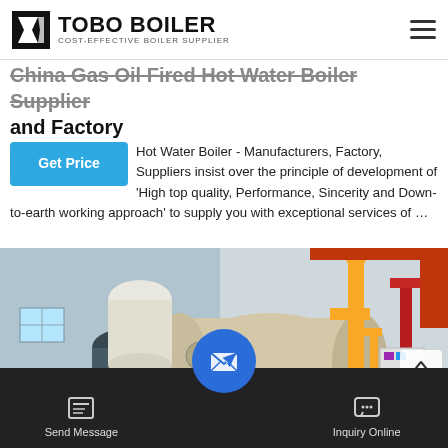TOBO BOILER — COST-EFFECTIVE BOILER SUPPLIER
China Gas Oil Fired Hot Water Boiler Supplier and Factory
Hot Water Boiler - Manufacturers, Factory, Suppliers insist over the principle of development of 'High top quality, Performance, Sincerity and Down-to-earth working approach' to supply you with exceptional services of …
[Figure (photo): Industrial gas oil fired hot water boilers in a factory setting — showing large cylindrical boiler units with yellow gas pipes, blue cylindrical tank, and control panels]
Send Message | Inquiry Online